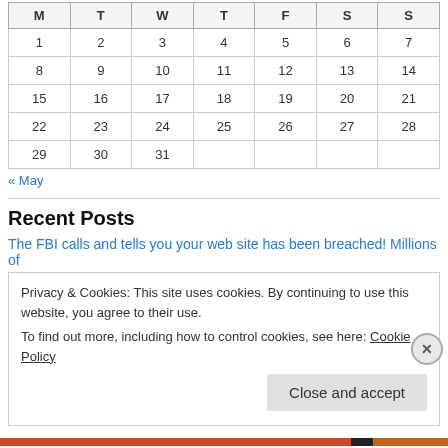| M | T | W | T | F | S | S |
| --- | --- | --- | --- | --- | --- | --- |
| 1 | 2 | 3 | 4 | 5 | 6 | 7 |
| 8 | 9 | 10 | 11 | 12 | 13 | 14 |
| 15 | 16 | 17 | 18 | 19 | 20 | 21 |
| 22 | 23 | 24 | 25 | 26 | 27 | 28 |
| 29 | 30 | 31 |  |  |  |  |
« May
Recent Posts
The FBI calls and tells you your web site has been breached! Millions of
Privacy & Cookies: This site uses cookies. By continuing to use this website, you agree to their use.
To find out more, including how to control cookies, see here: Cookie Policy